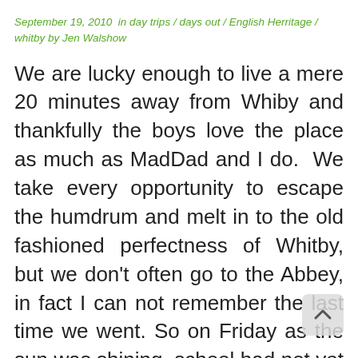September 19, 2010 in day trips / days out / English Herritage / whitby by Jen Walshow
We are lucky enough to live a mere 20 minutes away from Whiby and thankfully the boys love the place as much as MadDad and I do.  We take every opportunity to escape the humdrum and melt in to the old fashioned perfectness of Whitby, but we don't often go to the Abbey, in fact I can not remember the last time we went. So on Friday as the sun was shining, school had not yet started and MAdDad was off, plus we were looking after my 5 year old niece (as her Nanna is terminally ill), so we decided Whitby was